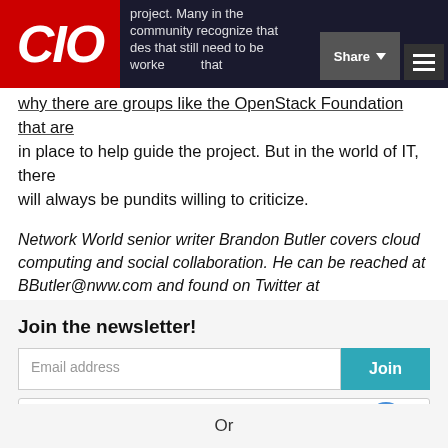CIO | Share | Menu
why there are groups like the OpenStack Foundation that are in place to help guide the project. But in the world of IT, there will always be pundits willing to criticize.
Network World senior writer Brandon Butler covers cloud computing and social collaboration. He can be reached at BButler@nww.com and found on Twitter at @BButlerNWW.
Join the newsletter!
Email address
Join
I'm not a robot
reCAPTCHA Privacy · Terms
Or